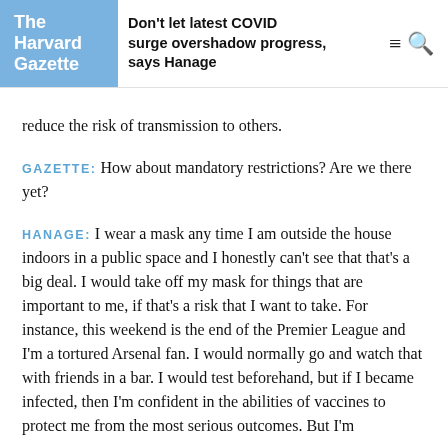The Harvard Gazette — Don't let latest COVID surge overshadow progress, says Hanage
reduce the risk of transmission to others.
GAZETTE: How about mandatory restrictions? Are we there yet?
HANAGE: I wear a mask any time I am outside the house indoors in a public space and I honestly can't see that that's a big deal. I would take off my mask for things that are important to me, if that's a risk that I want to take. For instance, this weekend is the end of the Premier League and I'm a tortured Arsenal fan. I would normally go and watch that with friends in a bar. I would test beforehand, but if I became infected, then I'm confident in the abilities of vaccines to protect me from the most serious outcomes. But I'm